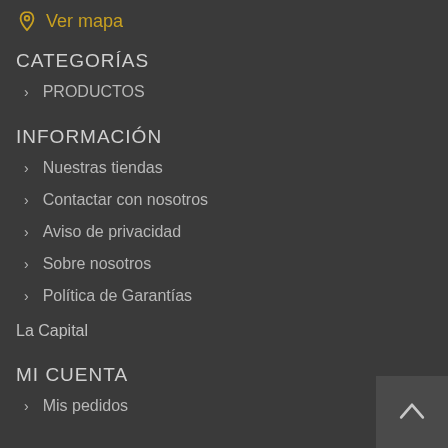Ver mapa
CATEGORÍAS
> PRODUCTOS
INFORMACIÓN
> Nuestras tiendas
> Contactar con nosotros
> Aviso de privacidad
> Sobre nosotros
> Política de Garantías
La Capital
MI CUENTA
> Mis pedidos